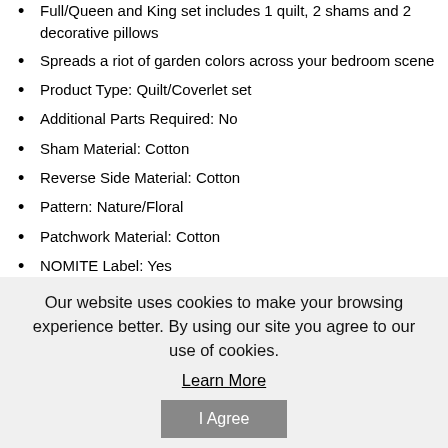Full/Queen and King set includes 1 quilt, 2 shams and 2 decorative pillows
Spreads a riot of garden colors across your bedroom scene
Product Type: Quilt/Coverlet set
Additional Parts Required: No
Sham Material: Cotton
Reverse Side Material: Cotton
Pattern: Nature/Floral
Patchwork Material: Cotton
NOMITE Label: Yes
Luxury: Yes
Organic: No
Comforter Included: No
Duvet Cover Included: No Duvet or Comforter
Fill Material: Polyester/Polyfill
Our website uses cookies to make your browsing experience better. By using our site you agree to our use of cookies.
Learn More
I Agree